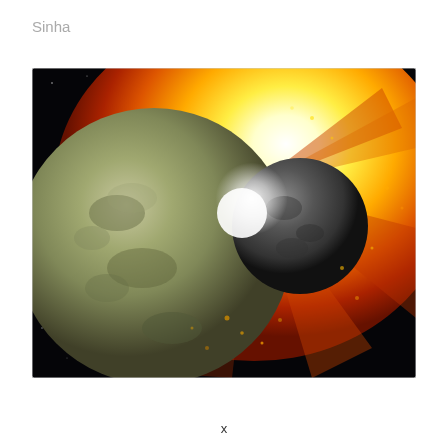Sinha
[Figure (illustration): Artistic illustration of two planets colliding in space. A large greenish-grey planet on the left is being struck by a smaller dark grey planet on the right, producing a massive explosion of fiery orange, red, and bright white light radiating outward. The background is deep black space with faint stars.]
x